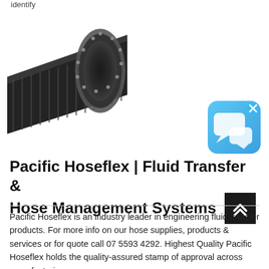identify
[Figure (photo): Close-up photo of a black corrugated industrial hose/tube showing the open circular end and textured exterior]
[Figure (screenshot): Blue chat/messaging app icon with white speech bubble icons and an X close button in the top right corner]
Pacific Hoseflex | Fluid Transfer & Hose Management Systems
Pacific Hoseflex is an industry leader in engineering fluid transfer products. For more info on our hose supplies, products & services or for quote call 07 5593 4292. Highest Quality Pacific Hoseflex holds the quality-assured stamp of approval across manufacturing